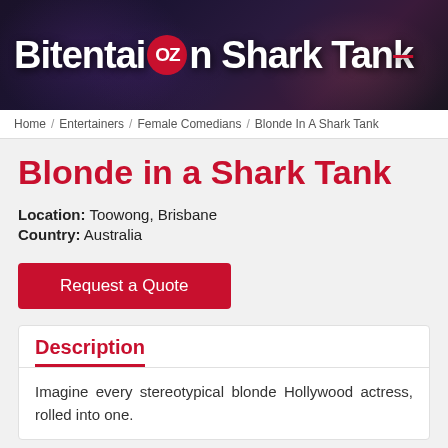[Figure (logo): Bitentertainment OZ Shark Tank website header banner with dark background and site branding]
Home / Entertainers / Female Comedians / Blonde In A Shark Tank
Blonde in a Shark Tank
Location: Toowong, Brisbane
Country: Australia
Request a Quote
Description
Imagine every stereotypical blonde Hollywood actress, rolled into one.